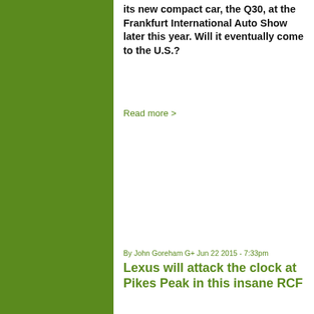its new compact car, the Q30, at the Frankfurt International Auto Show later this year. Will it eventually come to the U.S.?
Read more >
By John Goreham G+ Jun 22 2015 - 7:33pm
Lexus will attack the clock at Pikes Peak in this insane RCF
Lexus will finally start to show off its V8 coupes in racing.